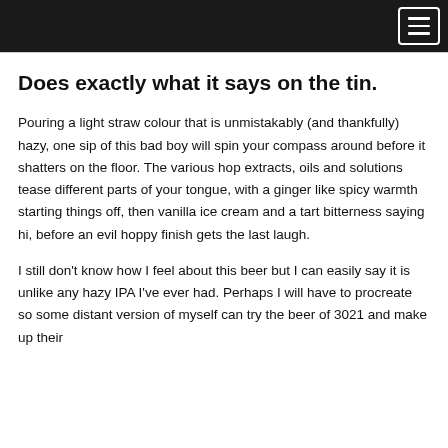Does exactly what it says on the tin.
Pouring a light straw colour that is unmistakably (and thankfully) hazy, one sip of this bad boy will spin your compass around before it shatters on the floor. The various hop extracts, oils and solutions tease different parts of your tongue, with a ginger like spicy warmth starting things off, then vanilla ice cream and a tart bitterness saying hi, before an evil hoppy finish gets the last laugh.
I still don't know how I feel about this beer but I can easily say it is unlike any hazy IPA I've ever had. Perhaps I will have to procreate so some distant version of myself can try the beer of 3021 and make up their